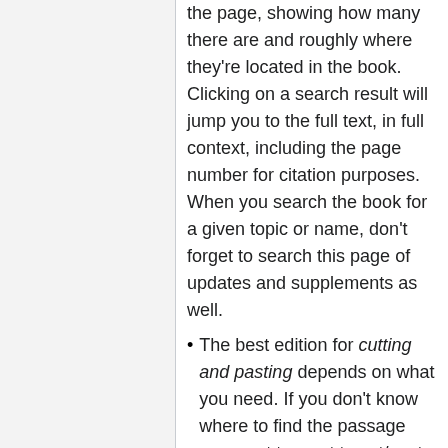the page, showing how many there are and roughly where they're located in the book. Clicking on a search result will jump you to the full text, in full context, including the page number for citation purposes. When you search the book for a given topic or name, don't forget to search this page of updates and supplements as well.
The best edition for cutting and pasting depends on what you need. If you don't know where to find the passage you want to want to cut/paste, then I recommend either the MIT PDF or the Internet Archive PDF. Each displays the full-text in one large file, for searching, but each leaves hard returns in your pasted text. The same